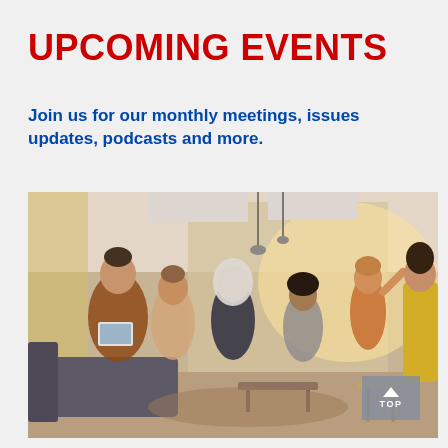UPCOMING EVENTS
Join us for our monthly meetings, issues updates, podcasts and more.
[Figure (photo): Group of diverse people sitting in a circle in a modern bright office space, having a discussion or meeting. A man in an orange sweater appears to be speaking while others listen and take notes.]